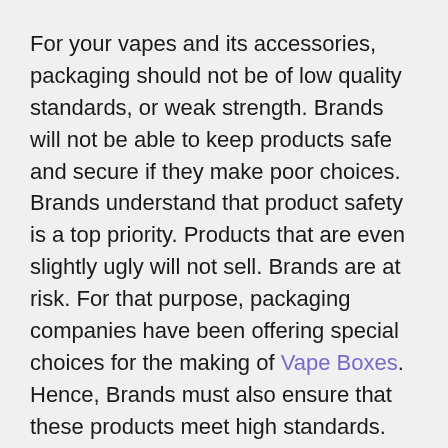For your vapes and its accessories, packaging should not be of low quality standards, or weak strength. Brands will not be able to keep products safe and secure if they make poor choices. Brands understand that product safety is a top priority. Products that are even slightly ugly will not sell. Brands are at risk. For that purpose, packaging companies have been offering special choices for the making of Vape Boxes. Hence, Brands must also ensure that these products meet high standards.
Many influencers have a strong social media reputation. Their followers will follow their lead no matter what they say or do. This is how powerful their words can be. Plus, these techniques can also be used by brands to increase sales of their products. Therefore, experts can be hired by brands to share their products. These experts will share